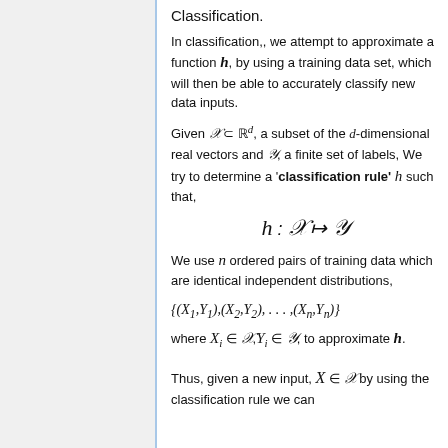Classification.
In classification,, we attempt to approximate a function h, by using a training data set, which will then be able to accurately classify new data inputs.
Given X ⊂ ℝ^d, a subset of the d-dimensional real vectors and Y, a finite set of labels, We try to determine a 'classification rule' h such that,
We use n ordered pairs of training data which are identical independent distributions,
where X_i ∈ X, Y_i ∈ Y, to approximate h.
Thus, given a new input, X ∈ X by using the classification rule we can